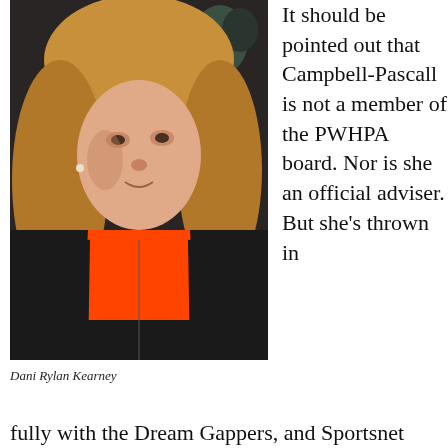[Figure (photo): Dani Rylan Kearney, a blonde woman wearing a black jacket over an orange/red top, photographed indoors with a dark background.]
Dani Rylan Kearney
It should be pointed out that Campbell-Pascall is not a member of the PWHPA board. Nor is she an official adviser. But she's thrown in fully with the Dream Gappers, and Sportsnet
fully with the Dream Gappers, and Sportsnet